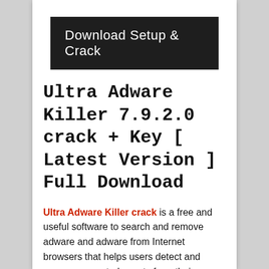[Figure (other): Dark button/banner with white text reading 'Download Setup & Crack']
Ultra Adware Killer 7.9.2.0 crack + Key [ Latest Version ] Full Download
Ultra Adware Killer crack is a free and useful software to search and remove adware and adware from Internet browsers that helps users detect and remove unwanted guests from their windows and browsers. Ultra Adware Killer with its search engine will detect all unwanted add-ons, Adware, and malware in browsers such as Internet Explorer, Chrome, Firefox, Opera. Now you